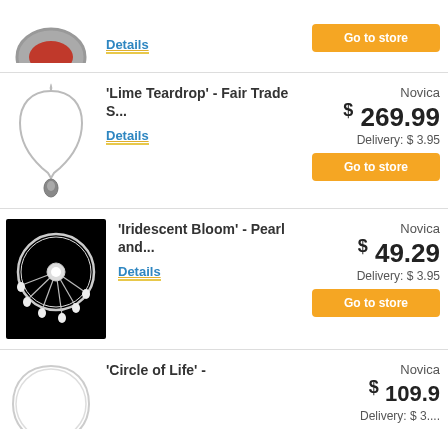[Figure (photo): Partial view of a silver brooch with red gemstone, top of page]
Details
Go to store
[Figure (photo): Silver teardrop pendant necklace on white background]
'Lime Teardrop' - Fair Trade S...
Details
Novica
$ 269.99
Delivery: $ 3.95
Go to store
[Figure (photo): Pearl and wire bangle bracelet on black background - Iridescent Bloom]
'Iridescent Bloom' - Pearl and...
Details
Novica
$ 49.29
Delivery: $ 3.95
Go to store
[Figure (photo): Partial view of Circle of Life necklace, bottom of page]
'Circle of Life' -
Novica
$ 109.9...
Delivery: $ 3....